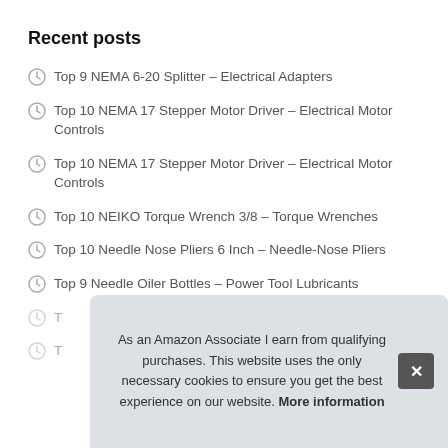Recent posts
Top 9 NEMA 6-20 Splitter – Electrical Adapters
Top 10 NEMA 17 Stepper Motor Driver – Electrical Motor Controls
Top 10 NEMA 17 Stepper Motor Driver – Electrical Motor Controls
Top 10 NEIKO Torque Wrench 3/8 – Torque Wrenches
Top 10 Needle Nose Pliers 6 Inch – Needle-Nose Pliers
Top 9 Needle Oiler Bottles – Power Tool Lubricants
As an Amazon Associate I earn from qualifying purchases. This website uses the only necessary cookies to ensure you get the best experience on our website. More information